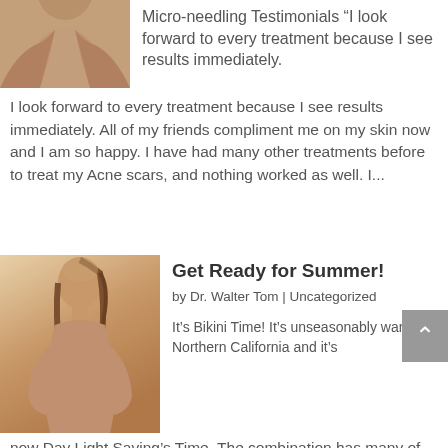[Figure (photo): Partial photo of a person's torso/arms, skin tone visible, upper portion cropped]
Micro-needling Testimonials “I look forward to every treatment because I see results immediately.
I look forward to every treatment because I see results immediately. All of my friends compliment me on my skin now and I am so happy. I have had many other treatments before to treat my Acne scars, and nothing worked as well. I...
[Figure (photo): Photo of a woman with eyes closed, head tilted back, sitting pose, skin tone]
Get Ready for Summer!
by Dr. Walter Tom | Uncategorized
It’s Bikini Time! It’s unseasonably warm in Northern California and it’s now Day Light Saving’s Time. The combination has many of our patients thinking about even warmer weather, summer vacations and heading to the beach.